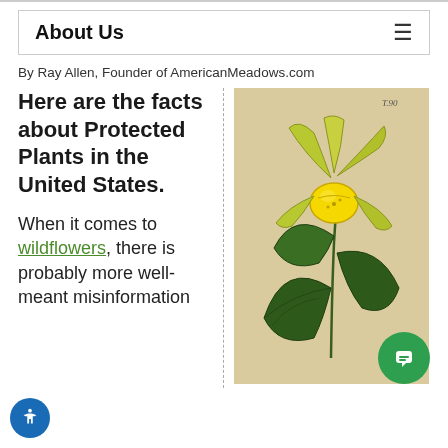About Us
By Ray Allen, Founder of AmericanMeadows.com
Here are the facts about Protected Plants in the United States.
When it comes to wildflowers, there is probably more well-meant misinformation
[Figure (illustration): Botanical illustration of a yellow lady's slipper orchid (Cypripedium) with green leaves and a yellow flower on a beige/cream background. Small text 'T.90' visible in upper right corner of the illustration.]